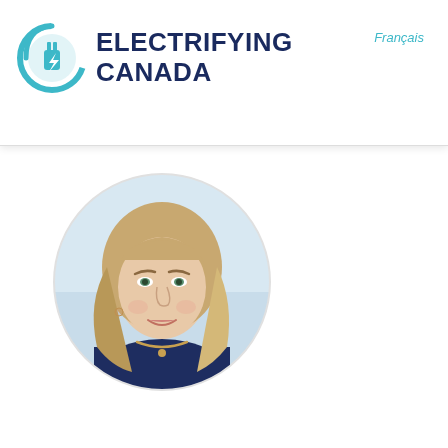Electrifying Canada
Français
[Figure (photo): Circular headshot portrait of a woman with blonde/light brown hair, wearing a navy blazer and necklace, smiling, against a light blue/white background.]